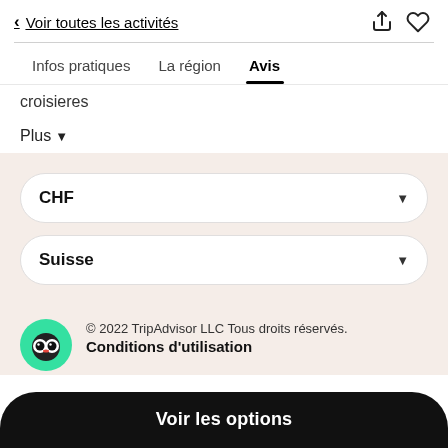< Voir toutes les activités
Infos pratiques   La région   Avis
croisieres
Plus ∨
CHF
Suisse
© 2022 TripAdvisor LLC Tous droits réservés.
Conditions d'utilisation
Voir les options